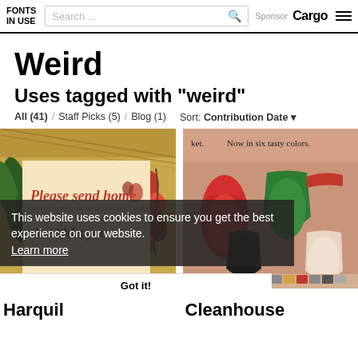FONTS IN USE | Search... | Sponsor Cargo ≡
Weird
Uses tagged with "weird"
All (41) / Staff Picks (5) / Blog (1) Sort: Contribution Date ▼
[Figure (photo): Vintage postcard with text 'Please send home that Shirt you' with floral decoration]
[Figure (photo): Advertisement showing colored tongues/Game Boy colors with text 'ket. Now in six tasty colors.']
This website uses cookies to ensure you get the best experience on our website. Learn more
Got it!
Harquil
Cleanhouse